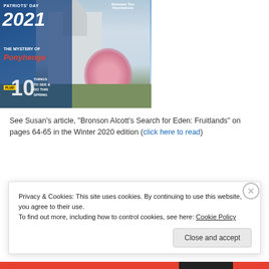[Figure (photo): Magazine cover for Discover Concord Patriots' Day 2021 edition, featuring a white church with cherry blossom tree, text '2021', 'THE MYSTERY OF Ponyhenge', 'Between Two Revolutions', 'PLUS! 10 THINGS TO SEE & DO THIS SPRING']
See Susan’s article, “Bronson Alcott’s Search for Eden: Fruitlands” on pages 64-65 in the Winter 2020 edition (click here to read)
[Figure (photo): Magazine cover for Discover Concord, showing stylized winter/snowy background with 'Discover' in yellow italic script and 'CONCORD' in large white bold letters]
Privacy & Cookies: This site uses cookies. By continuing to use this website, you agree to their use.
To find out more, including how to control cookies, see here: Cookie Policy
Close and accept